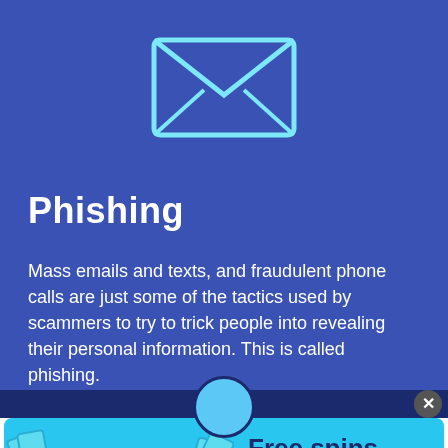[Figure (illustration): Light blue envelope icon with fold lines on a blue background, tilted slightly]
Phishing
Mass emails and texts, and fraudulent phone calls are just some of the tactics used by scammers to try to trick people into revealing their personal information. This is called phishing.
[Figure (infographic): Cyan advertisement banner with 'Free spins by email' text, a money bag with dollar sign, a triangle badge saying 'A GIFT FOR YOU', an arrow/envelope icon, playing cards icon, and a yellow 'ENTER NOW' button]